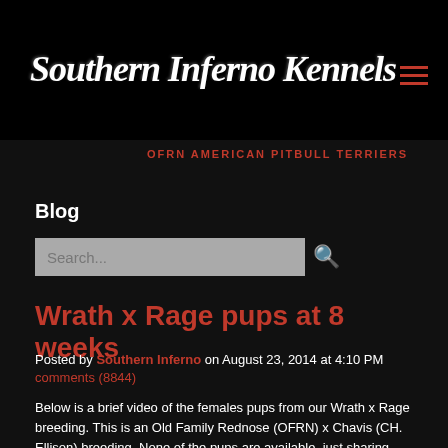Southern Inferno Kennels
OFRN AMERICAN PITBULL TERRIERS
Blog
Wrath x Rage pups at 8 weeks
Posted by Southern Inferno on August 23, 2014 at 4:10 PM comments (8844)
Below is a brief video of the females pups from our Wrath x Rage breeding. This is an Old Family Rednose (OFRN) x Chavis (CH. Ellison) breeding. None of the pups are available, just sharing. This video shows a good depiction of the typical temperament you will see from a Southern Inferno pup. Extremely active, play driven and confident. Pairing well bred, proper temperament and tested working stock is the first step to